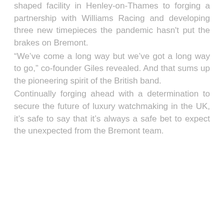shaped facility in Henley-on-Thames to forging a partnership with Williams Racing and developing three new timepieces the pandemic hasn't put the brakes on Bremont.
“We’ve come a long way but we’ve got a long way to go,” co-founder Giles revealed. And that sums up the pioneering spirit of the British band.
Continually forging ahead with a determination to secure the future of luxury watchmaking in the UK, it’s safe to say that it’s always a safe bet to expect the unexpected from the Bremont team.